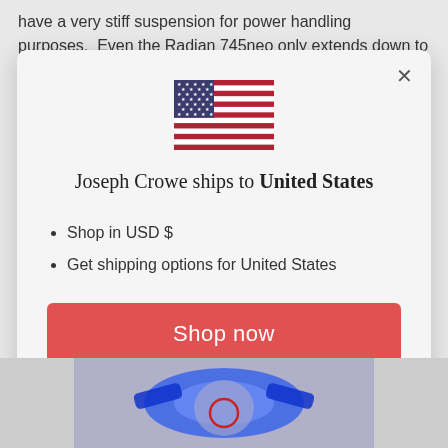have a very stiff suspension for power handling purposes.  Even the Radian 745neo only extends down to
[Figure (screenshot): Modal dialog box showing a US flag, text 'Joseph Crowe ships to United States', bullet points 'Shop in USD $' and 'Get shipping options for United States', a red 'Shop now' button, and a 'Change shipping country' link. An X close button is in the top right of the modal.]
[Figure (photo): Partial image at the bottom of the page showing what appears to be a blue and gray 3D rendered object or speaker component.]